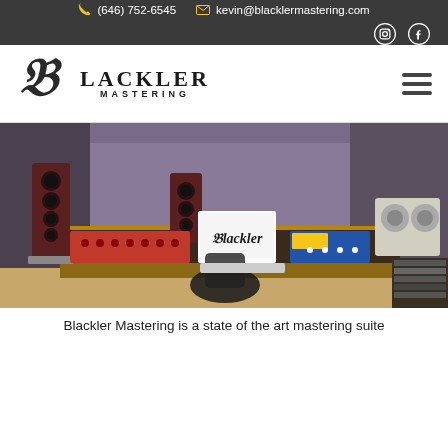(646) 752-6545  kevin@blacklermastering.com
[Figure (logo): Blackler Mastering logo with ornate letter B and hamburger menu icon]
[Figure (photo): Interior photo of the Blackler Mastering studio showing mixing console, monitor speakers, computer displays, and audio equipment]
Blackler Mastering is a state of the art mastering suite